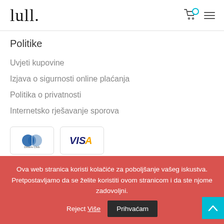lull.
Politike
Uvjeti kupovine
Izjava o sigurnosti online plaćanja
Politika o privatnosti
Internetsko rješavanje sporova
[Figure (logo): Diners Club payment card logo]
[Figure (logo): VISA payment card logo]
Ova web stranica koristi kolačiće za poboljšanje vašeg iskustva. Pretpostavljamo da se želite koristiti ovom stranicom i da ste njome zadovoljni.
Prihvaćam
Reject Više